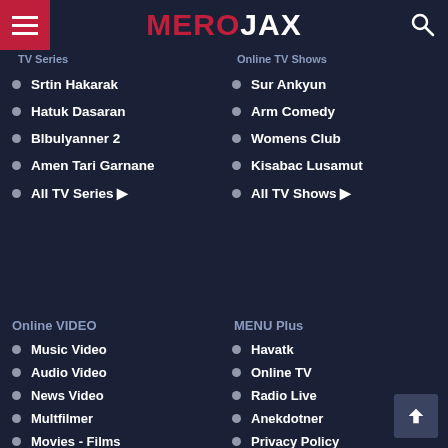MEROJAX
TV Series
Online TV Shows
Srtin Hakarak
Sur Ankyun
Hatuk Dasaran
Arm Comedy
Blbulyanner 2
Womens Club
Amen Tari Garnane
Kisabac Lusamut
All TV Series ▶
All TV Shows ▶
Online VIDEO
MENU Plus
Music Video
Havatk
Audio Video
Online TV
News Video
Radio Live
Multfilmer
Anekdotner
Movies - Films
Privacy Policy
Funny Videos
Contact US